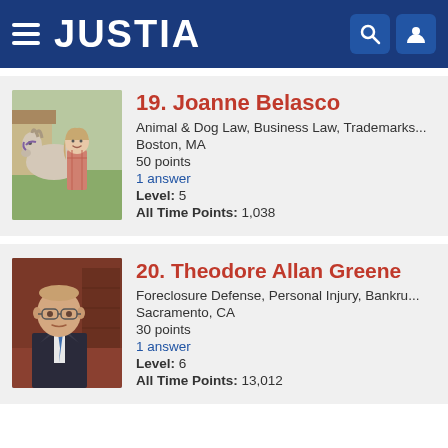JUSTIA
19. Joanne Belasco
Animal & Dog Law, Business Law, Trademarks...
Boston, MA
50 points
1 answer
Level: 5
All Time Points: 1,038
20. Theodore Allan Greene
Foreclosure Defense, Personal Injury, Bankru...
Sacramento, CA
30 points
1 answer
Level: 6
All Time Points: 13,012